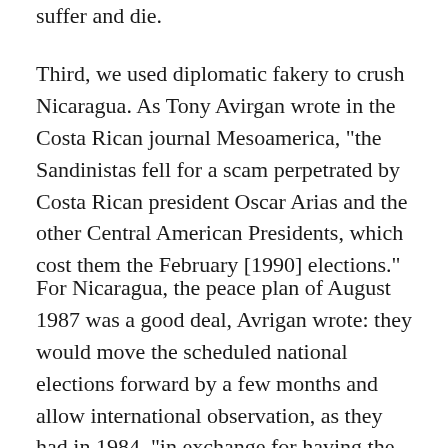suffer and die.
Third, we used diplomatic fakery to crush Nicaragua. As Tony Avirgan wrote in the Costa Rican journal Mesoamerica, "the Sandinistas fell for a scam perpetrated by Costa Rican president Oscar Arias and the other Central American Presidents, which cost them the February [1990] elections."
For Nicaragua, the peace plan of August 1987 was a good deal, Avrigan wrote: they would move the scheduled national elections forward by a few months and allow international observation, as they had in 1984, "in exchange for having the contras demobilised and the war brought to an end...." The Nicaraguan government did what it was required to do under the peace plan, but no one else paid the slightest attention